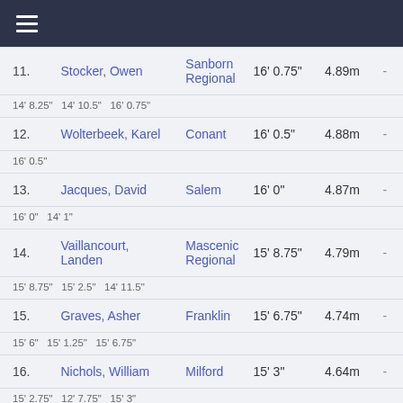≡
| # | Name | School | Distance | Metric |  |
| --- | --- | --- | --- | --- | --- |
| 11. | Stocker, Owen | Sanborn Regional | 16' 0.75" | 4.89m | - |
|  | 14' 8.25"  14' 10.5"  16' 0.75" |  |  |  |  |
| 12. | Wolterbeek, Karel | Conant | 16' 0.5" | 4.88m | - |
|  | 16' 0.5" |  |  |  |  |
| 13. | Jacques, David | Salem | 16' 0" | 4.87m | - |
|  | 16' 0"  14' 1" |  |  |  |  |
| 14. | Vaillancourt, Landen | Mascenic Regional | 15' 8.75" | 4.79m | - |
|  | 15' 8.75"  15' 2.5"  14' 11.5" |  |  |  |  |
| 15. | Graves, Asher | Franklin | 15' 6.75" | 4.74m | - |
|  | 15' 6"  15' 1.25"  15' 6.75" |  |  |  |  |
| 16. | Nichols, William | Milford | 15' 3" | 4.64m | - |
|  | 15' 2.75"  12' 7.75"  15' 3" |  |  |  |  |